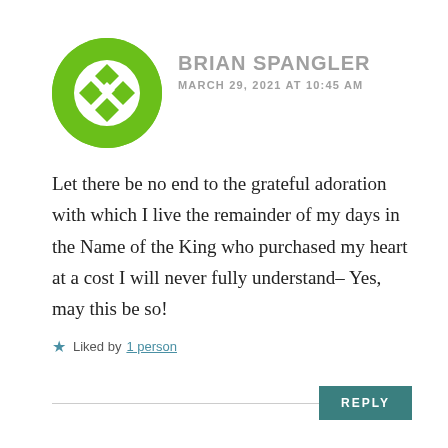[Figure (logo): Green circular avatar with a white diamond/quilt pattern in the center, overlapping green quarter-circles forming the outer ring.]
BRIAN SPANGLER
MARCH 29, 2021 AT 10:45 AM
Let there be no end to the grateful adoration with which I live the remainder of my days in the Name of the King who purchased my heart at a cost I will never fully understand– Yes, may this be so!
★ Liked by 1 person
REPLY